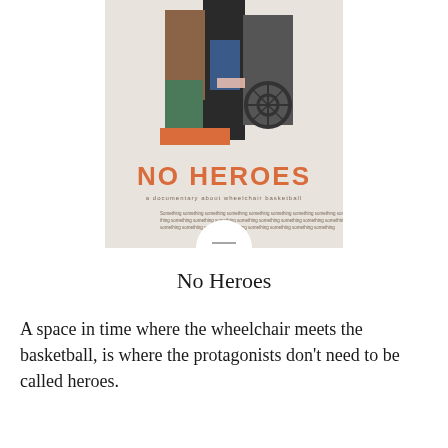[Figure (illustration): Movie poster for 'No Heroes' — a documentary about wheelchair basketball. Shows a collaged image of a wheelchair user with geometric photo fragments in a light gray background, large orange text reading 'NO HEROES', subtitle text below, and a circular emblem at the bottom.]
No Heroes
A space in time where the wheelchair meets the basketball, is where the protagonists don't need to be called heroes.